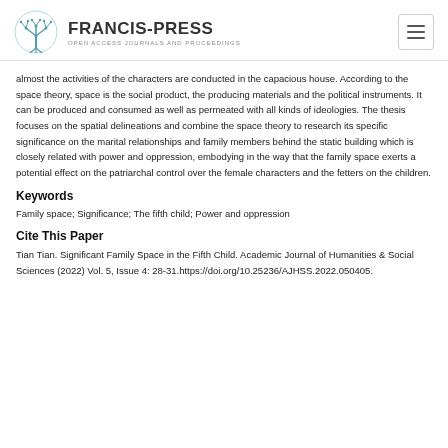FRANCIS-PRESS | OPEN ACCESS JOURNALS AND PROCEEDINGS
almost the activities of the characters are conducted in the capacious house. According to the space theory, space is the social product, the producing materials and the political instruments. It can be produced and consumed as well as permeated with all kinds of ideologies. The thesis focuses on the spatial delineations and combine the space theory to research its specific significance on the marital relationships and family members behind the static building which is closely related with power and oppression, embodying in the way that the family space exerts a potential effect on the patriarchal control over the female characters and the fetters on the children.
Keywords
Family space; Significance; The fifth child; Power and oppression
Cite This Paper
Tian Tian. Significant Family Space in the Fifth Child. Academic Journal of Humanities & Social Sciences (2022) Vol. 5, Issue 4: 28-31.https://doi.org/10.25236/AJHSS.2022.050405.